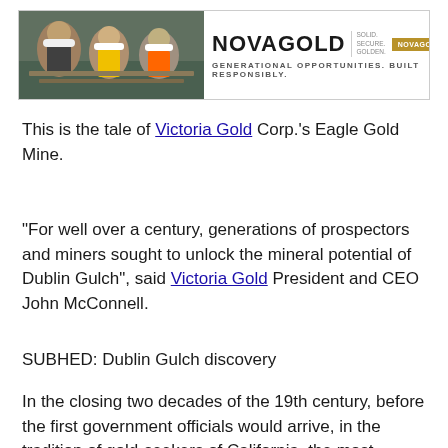[Figure (other): NOVAGOLD advertisement banner with a photo of workers in hard hats and the NOVAGOLD logo, tagline: GENERATIONAL OPPORTUNITIES. BUILT RESPONSIBLY., and novagold.com button]
This is the tale of Victoria Gold Corp.'s Eagle Gold Mine.
"For well over a century, generations of prospectors and miners sought to unlock the mineral potential of Dublin Gulch", said Victoria Gold President and CEO John McConnell.
SUBHED: Dublin Gulch discovery
In the closing two decades of the 19th century, before the first government officials would arrive, in the tradition of gold-seekers of California, the most simplistic and difficult of methods for discovery were still being employed.